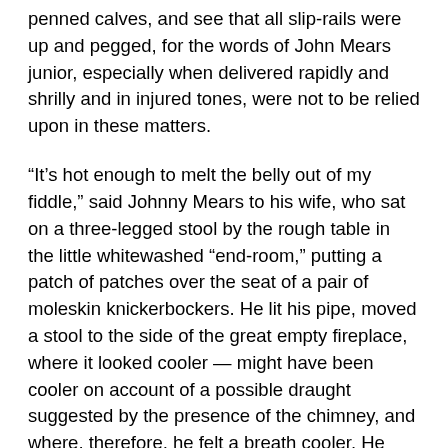penned calves, and see that all slip-rails were up and pegged, for the words of John Mears junior, especially when delivered rapidly and shrilly and in injured tones, were not to be relied upon in these matters.
“It’s hot enough to melt the belly out of my fiddle,” said Johnny Mears to his wife, who sat on a three-legged stool by the rough table in the little whitewashed “end-room,” putting a patch of patches over the seat of a pair of moleskin knickerbockers. He lit his pipe, moved a stool to the side of the great empty fireplace, where it looked cooler — might have been cooler on account of a possible draught suggested by the presence of the chimney, and where, therefore, he felt a breath cooler. He took his fiddle from a convenient shelf, tuned it slowly and carefully, holding his pipe (in his mouth) well up and to one side, as if the fiddle were an inquisitive and